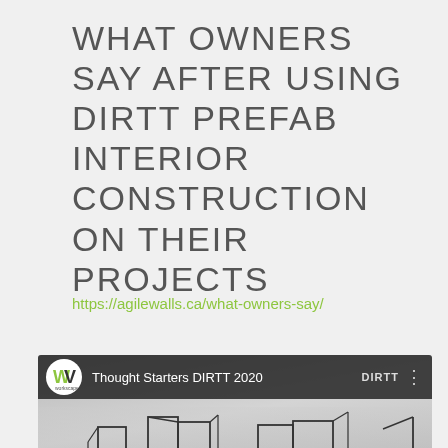WHAT OWNERS SAY AFTER USING DIRTT PREFAB INTERIOR CONSTRUCTION ON THEIR PROJECTS
https://agilewalls.ca/what-owners-say/
[Figure (screenshot): YouTube video thumbnail showing 'Thought Starters DIRTT 2020' with Workscapes logo, YouTube play button overlay, and line-art sketch of DIRTT prefab interior wall panels]